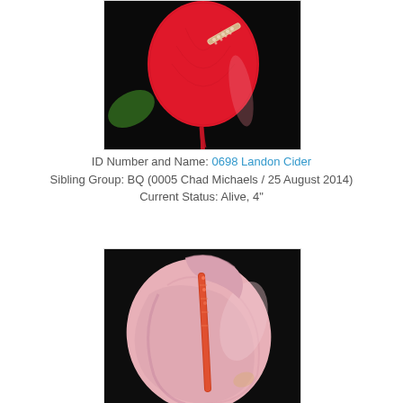[Figure (photo): Close-up photograph of a red anthurium flower against a dark background, showing the heart-shaped spathe and spadix with white pollen]
ID Number and Name: 0698 Landon Cider
Sibling Group: BQ (0005 Chad Michaels / 25 August 2014)
Current Status: Alive, 4"
[Figure (photo): Close-up photograph of a pink anthurium flower against a dark background, showing the large pale pink spathe and orange-red spadix]